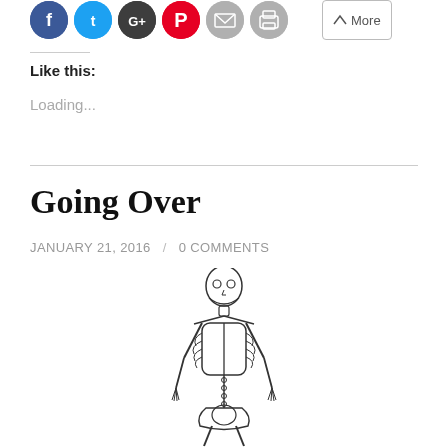[Figure (other): Social sharing icon buttons: Facebook (blue), Twitter (light blue), Google+ (dark), Pinterest (red), Email (grey), Print (grey), and a More button]
Like this:
Loading...
Going Over
JANUARY 21, 2016 / 0 COMMENTS
[Figure (illustration): Line drawing illustration of a human skeleton, shown from the front, upper and lower body visible, standing pose]